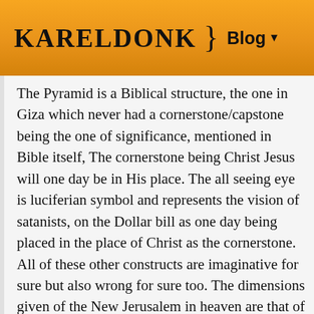KarelDonk  }  Blog  🔍  ≡
The Pyramid is a Biblical structure, the one in Giza which never had a cornerstone/capstone being the one of significance, mentioned in Bible itself, The cornerstone being Christ Jesus will one day be in His place. The all seeing eye is luciferian symbol and represents the vision of satanists, on the Dollar bill as one day being placed in the place of Christ as the cornerstone. All of these other constructs are imaginative for sure but also wrong for sure too. The dimensions given of the New Jerusalem in heaven are that of a pyramid ↑ too.